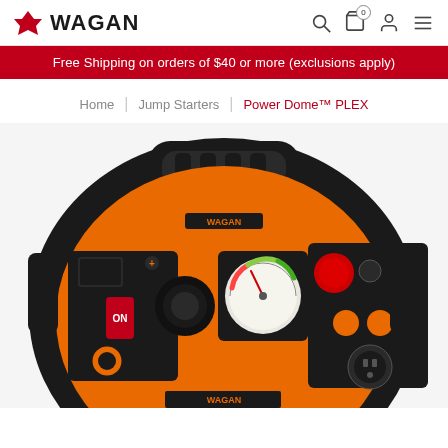WAGAN | navigation icons: search, cart (0), account, menu
Free Shipping on orders of $40 or more (exclusions apply)
Home | Jump Starters | Power Dome™ PLEX
[Figure (photo): Wagan Power Dome PLEX jump starter device, orange and black color, showing front panel with gauge, buttons, power connectors, and carrying handle]